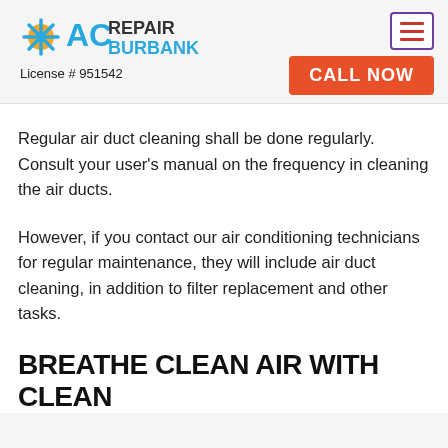AC REPAIR BURBANK — License # 951542
Regular air duct cleaning shall be done regularly. Consult your user's manual on the frequency in cleaning the air ducts.
However, if you contact our air conditioning technicians for regular maintenance, they will include air duct cleaning, in addition to filter replacement and other tasks.
BREATHE CLEAN AIR WITH CLEAN